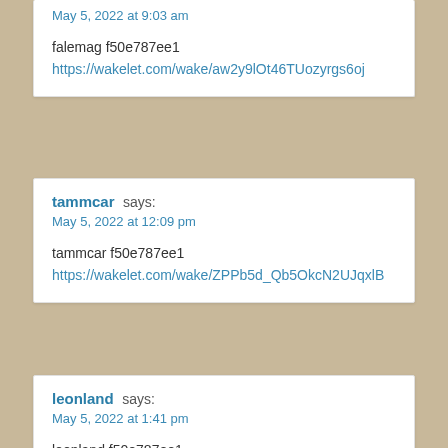May 5, 2022 at 9:03 am
falemag f50e787ee1
https://wakelet.com/wake/aw2y9lOt46TUozyrgs6oj
tammcar says:
May 5, 2022 at 12:09 pm
tammcar f50e787ee1
https://wakelet.com/wake/ZPPb5d_Qb5OkcN2UJqxlB
leonland says:
May 5, 2022 at 1:41 pm
leonland f50e787ee1